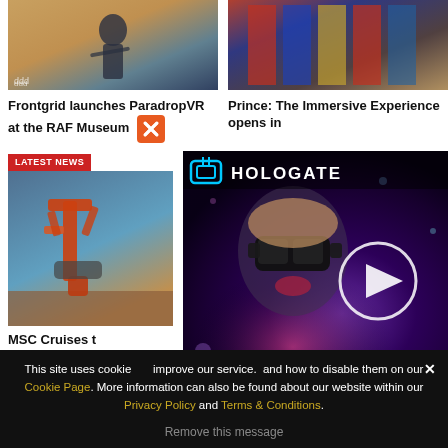[Figure (photo): Article thumbnail: person playing violin at sunset]
Frontgrid launches ParadropVR at the RAF Museum
[Figure (photo): Article thumbnail: colorful flags or banners backdrop]
Prince: The Immersive Experience opens in
[Figure (photo): Latest News badge with robotic arm on ship deck photo]
MSC Cruises t
[Figure (screenshot): Hologate video panel with woman in VR headset and play button overlay, showing HOLOGATE logo]
This site uses cookie improve our service. and how to disable them on our Cookie Page. More information can also be found about our website within our Privacy Policy and Terms & Conditions.
Remove this message